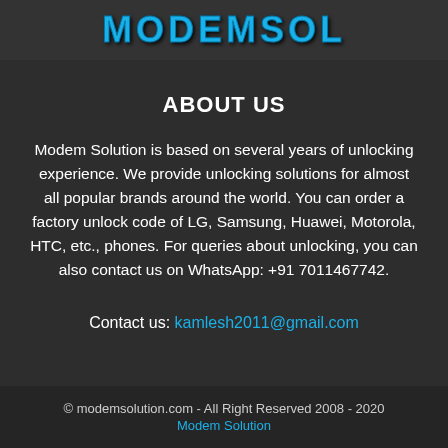[Figure (logo): MODEMSOL logo in blue stylized text]
ABOUT US
Modem Solution is based on several years of unlocking experience. We provide unlocking solutions for almost all popular brands around the world. You can order a factory unlock code of LG, Samsung, Huawei, Motorola, HTC, etc., phones. For queries about unlocking, you can also contact us on WhatsApp: +91 7011467742.
Contact us: kamlesh2011@gmail.com
© modemsolution.com - All Right Reserved 2008 - 2020
Modem Solution